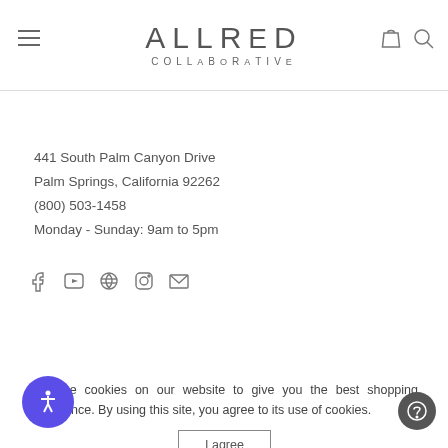ALLRED COLLABORATIVE
441 South Palm Canyon Drive
Palm Springs, California 92262
(800) 503-1458
Monday - Sunday: 9am to 5pm
[Figure (infographic): Social media icons: Facebook, YouTube, Pinterest, Instagram, Email]
We use cookies on our website to give you the best shopping experience. By using this site, you agree to its use of cookies.
I agree
TERMS & CONDITIONS
SHIPPING & DELIVERY INFO
RESOURCES